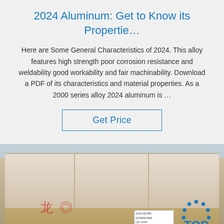2024 Aluminum: Get to Know its Propertie…
Here are Some General Characteristics of 2024. This alloy features high strength poor corrosion resistance and weldability good workability and fair machinability. Download a PDF of its characteristics and material properties. As a 2000 series alloy 2024 aluminum is …
Get Price
[Figure (photo): Photo of aluminum sheets/plates stacked in a warehouse or shipping area, with a TOP brand logo visible in the bottom right corner and CE marking at the bottom.]